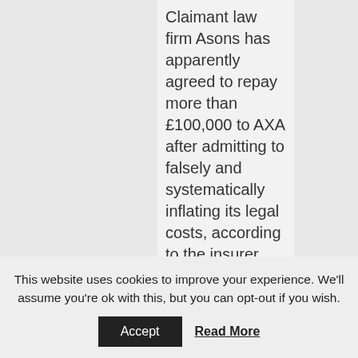Claimant law firm Asons has apparently agreed to repay more than £100,000 to AXA after admitting to falsely and systematically inflating its legal costs, according to the insurer.
The dispute involved 65 personal injury cases, settled between September 2013 and December 2014, where "Asons overstated the qualifications and
This website uses cookies to improve your experience. We'll assume you're ok with this, but you can opt-out if you wish.